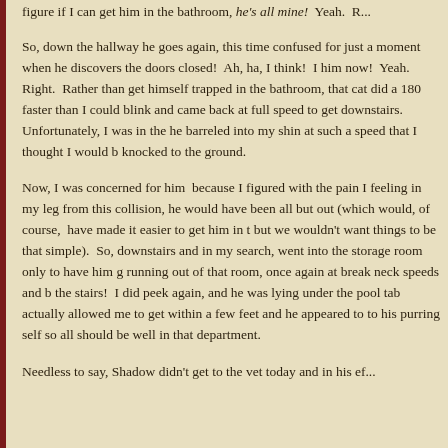figure if I can get him in the bathroom, he's all mine!  Yeah.  R...
So, down the hallway he goes again, this time confused for just a moment when he discovers the doors closed!  Ah, ha, I think!  I him now!  Yeah.  Right.  Rather than get himself trapped in the bathroom, that cat did a 180 faster than I could blink and came back at full speed to get downstairs.  Unfortunately, I was in the he barreled into my shin at such a speed that I thought I would b knocked to the ground.
Now, I was concerned for him  because I figured with the pain I feeling in my leg from this collision, he would have been all but out (which would, of course,  have made it easier to get him in t but we wouldn't want things to be that simple).  So, downstairs and in my search, went into the storage room only to have him g running out of that room, once again at break neck speeds and b the stairs!  I did peek again, and he was lying under the pool tab actually allowed me to get within a few feet and he appeared to to his purring self so all should be well in that department.
Needless to say, Shadow didn't get to the vet today and in his ef...